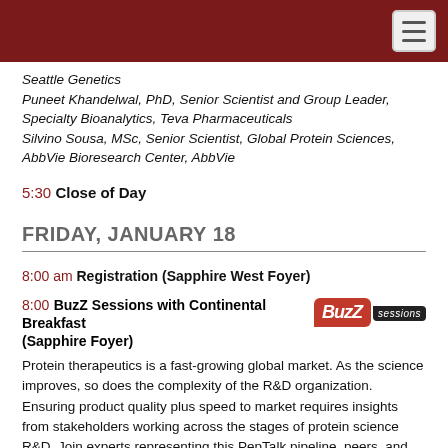Seattle Genetics
Puneet Khandelwal, PhD, Senior Scientist and Group Leader, Specialty Bioanalytics, Teva Pharmaceuticals
Silvino Sousa, MSc, Senior Scientist, Global Protein Sciences, AbbVie Bioresearch Center, AbbVie
5:30 Close of Day
FRIDAY, JANUARY 18
8:00 am Registration (Sapphire West Foyer)
8:00 BuzZ Sessions with Continental Breakfast (Sapphire Foyer)
Protein therapeutics is a fast-growing global market. As the science improves, so does the complexity of the R&D organization. Ensuring product quality plus speed to market requires insights from stakeholders working across the stages of protein science R&D. Join experts representing this PepTalk pipeline, peers, and colleagues for an interactive roundtable